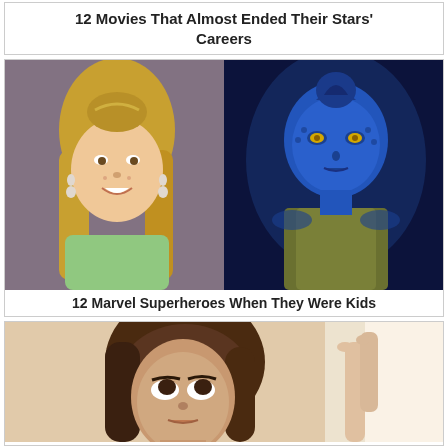12 Movies That Almost Ended Their Stars' Careers
[Figure (photo): Two side-by-side photos: left shows a young girl with long blonde hair smiling (school portrait), right shows a blue-skinned alien female character (Mystique from X-Men)]
12 Marvel Superheroes When They Were Kids
[Figure (photo): Photo of a brunette woman looking upward, with another person's hand/arm visible on the right side]